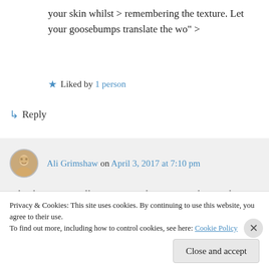your skin whilst > remembering the texture. Let your goosebumps translate the wo" >
★ Liked by 1 person
↪ Reply
Ali Grimshaw on April 3, 2017 at 7:10 pm
Thank mom. I really appreciate that you are sharing this journey with me. I always love to hear your reflections.
Privacy & Cookies: This site uses cookies. By continuing to use this website, you agree to their use. To find out more, including how to control cookies, see here: Cookie Policy